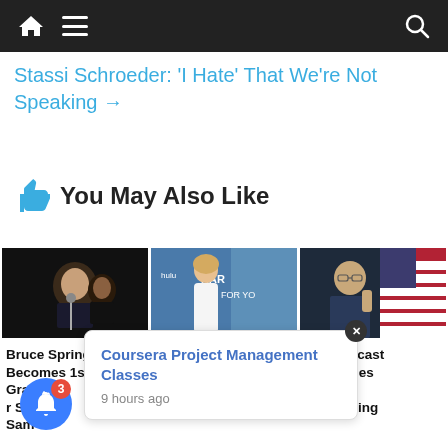Navigation bar with home, menu, and search icons
Stassi Schroeder: 'I Hate' That We're Not Speaking →
👍 You May Also Like
[Figure (photo): Bruce Springsteen performing at microphone in dark setting]
Bruce Springsteen Becomes 1st Time Grandpa r Son Sam
[Figure (photo): Khloe Kardashian at Hulu Kardashians event in white dress]
Khloe Kardashian tor Her 38th Birthday
[Figure (photo): Fed official speaking at podium with US flag in background]
Fed forecast challenges nt: Morning
Coursera Project Management Classes
9 hours ago